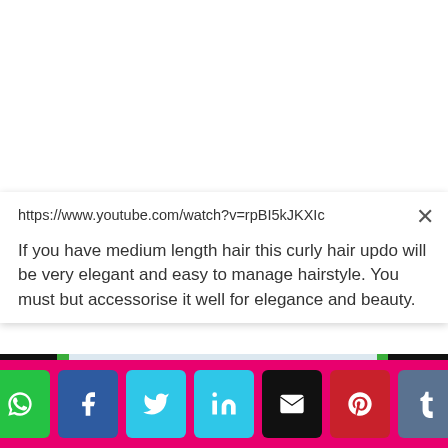https://www.youtube.com/watch?v=rpBI5kJKXIc
If you have medium length hair this curly hair updo will be very elegant and easy to manage hairstyle. You must but accessorise it well for elegance and beauty.
[Figure (photo): Back view of a blonde curly hair updo hairstyle with green floral accessory, shown in a video player interface with black side strips and green vertical bars.]
Social sharing buttons: WhatsApp, Facebook, Twitter, LinkedIn, Email, Pinterest, Tumblr